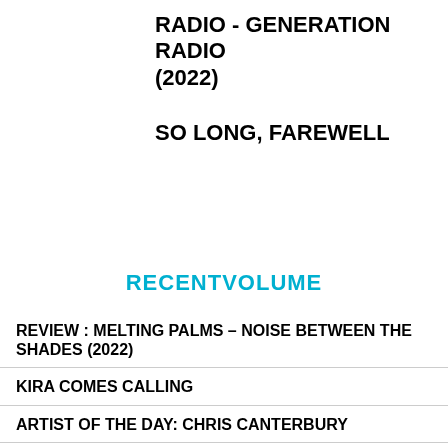RADIO - GENERATION RADIO (2022)
SO LONG, FAREWELL
[Figure (logo): RECENTVOLUME logo in cyan/teal bold uppercase text]
REVIEW : MELTING PALMS – NOISE BETWEEN THE SHADES (2022)
KIRA COMES CALLING
ARTIST OF THE DAY: CHRIS CANTERBURY
BRAVE RIVAL @ TEMPERENCE